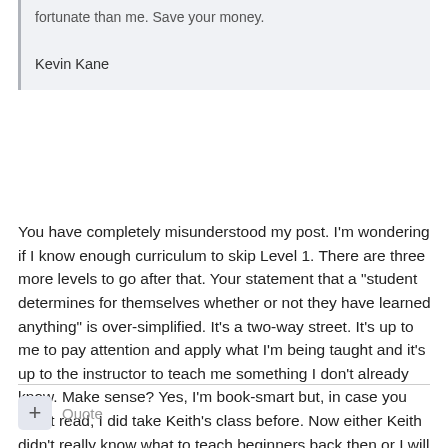fortunate than me. Save your money.
Kevin Kane
You have completely misunderstood my post. I'm wondering if I know enough curriculum to skip Level 1. There are three more levels to go after that. Your statement that a "student determines for themselves whether or not they have learned anything" is over-simplified. It's a two-way street. It's up to me to pay attention and apply what I'm being taught and it's up to the instructor to teach me something I don't already know. Make sense? Yes, I'm book-smart but, in case you didn't read, I did take Keith's class before. Now either Keith didn't really know what to teach beginners back then or I will be pretty much wasting my money on a level 1 class. Those are the two options I see right now.
Quote